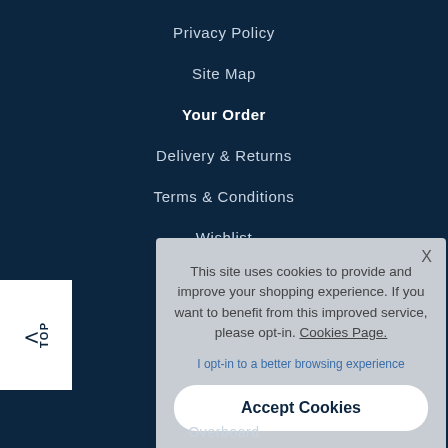Privacy Policy
Site Map
Your Order
Delivery & Returns
Terms & Conditions
Wishlist
TOP
This site uses cookies to provide and improve your shopping experience. If you want to benefit from this improved service, please opt-in. Cookies Page.
I opt-in to a better browsing experience
Accept Cookies
Overboard